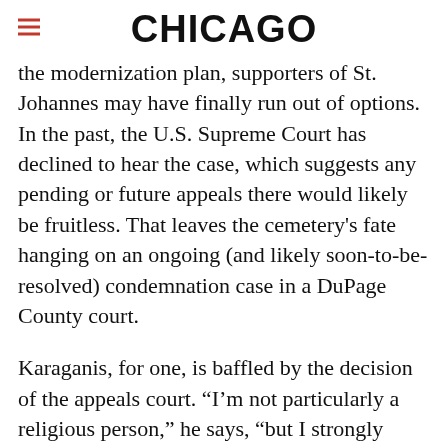CHICAGO
the modernization plan, supporters of St. Johannes may have finally run out of options. In the past, the U.S. Supreme Court has declined to hear the case, which suggests any pending or future appeals there would likely be fruitless. That leaves the cemetery's fate hanging on an ongoing (and likely soon-to-be-resolved) condemnation case in a DuPage County court.
Karaganis, for one, is baffled by the decision of the appeals court. “I’m not particularly a religious person,” he says, “but I strongly believe that what we were founded on includes a protection of religious rights. It astounds me, the cavalier nature of what’s been done here. With all due respect to Judge Wood